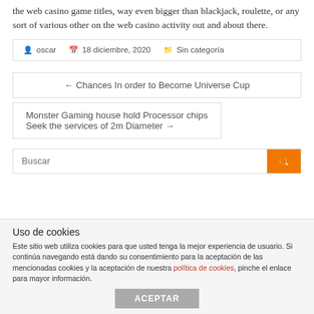the web casino game titles, way even bigger than blackjack, roulette, or any sort of various other on the web casino activity out and about there.
oscar   18 diciembre, 2020   Sin categoría
← Chances In order to Become Universe Cup
Monster Gaming house hold Processor chips Seek the services of 2m Diameter →
Buscar
Uso de cookies
Este sitio web utiliza cookies para que usted tenga la mejor experiencia de usuario. Si continúa navegando está dando su consentimiento para la aceptación de las mencionadas cookies y la aceptación de nuestra política de cookies, pinche el enlace para mayor información.
ACEPTAR